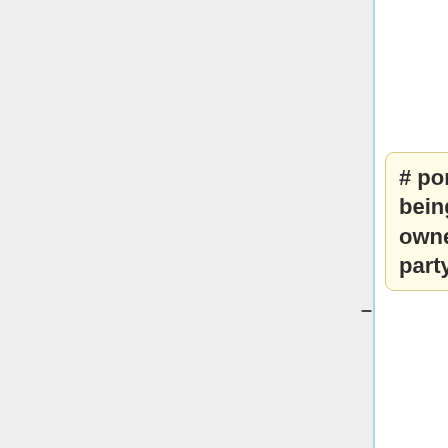abbrieviations such as "fn" or "dt")
# portable - capable of being published on owner's site and 3rd party sites alike
# transparent - ie encouraging all data to be published visibly to humans, and discouraging black hat techniques "(such as temptation to publish hidden ISO8601 data...